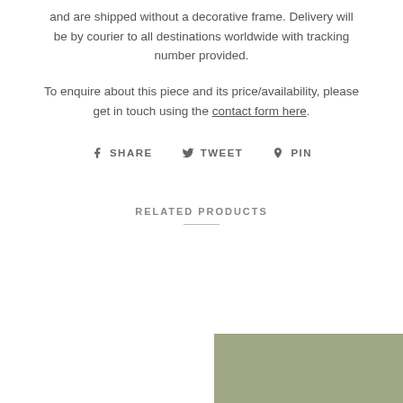and are shipped without a decorative frame. Delivery will be by courier to all destinations worldwide with tracking number provided.
To enquire about this piece and its price/availability, please get in touch using the contact form here.
SHARE  TWEET  PIN
RELATED PRODUCTS
[Figure (photo): Partial view of a product image with sage/olive green background color]